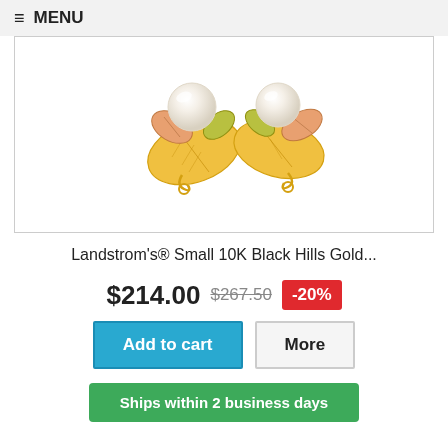≡ MENU
[Figure (photo): Two gold leaf earrings with pearl accents — Black Hills Gold style with multi-tone gold leaves and white freshwater pearls on white background]
Landstrom's® Small 10K Black Hills Gold...
$214.00  $267.50  -20%
Add to cart   More
Ships within 2 business days